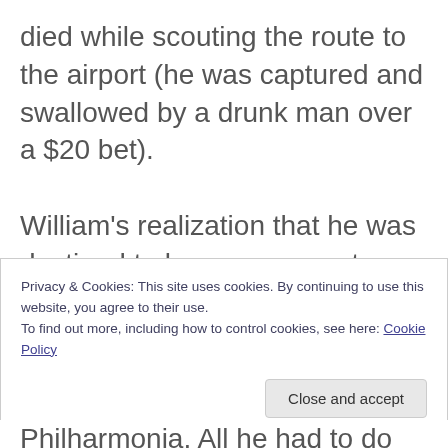died while scouting the route to the airport (he was captured and swallowed by a drunk man over a $20 bet).
William's realization that he was destined to become a great maestro dawned upon him when he first heard the 1957 recording of Arturo Toscanini conducting Beethoven's Eroica, the magnificent 3rd Symphony. He could feel the divine power of music under the baton of the Italian maestro and from that
Privacy & Cookies: This site uses cookies. By continuing to use this website, you agree to their use.
To find out more, including how to control cookies, see here: Cookie Policy
Philharmonia. All he had to do was inject a